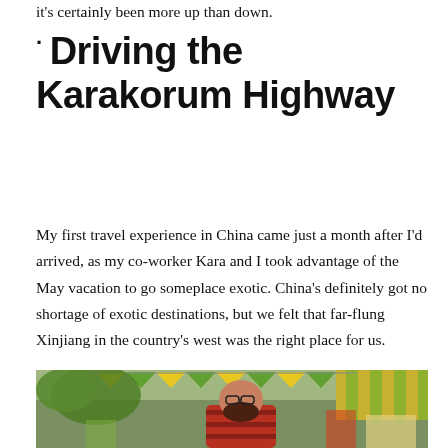it's certainly been more up than down.
Driving the Karakorum Highway
My first travel experience in China came just a month after I'd arrived, as my co-worker Kara and I took advantage of the May vacation to go someplace exotic. China's definitely got no shortage of exotic destinations, but we felt that far-flung Xinjiang in the country's west was the right place for us.
[Figure (photo): A man with glasses and a beard wearing a red striped shirt, standing outdoors at what appears to be a market or bazaar with colorful triangular bunting banners overhead and green trees in the background.]